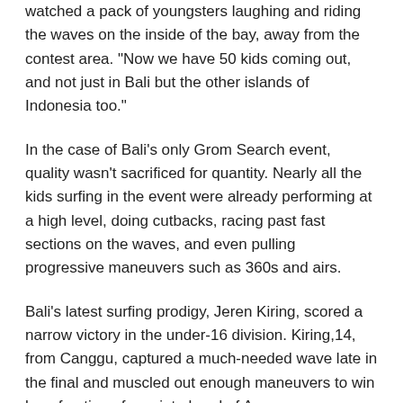watched a pack of youngsters laughing and riding the waves on the inside of the bay, away from the contest area. "Now we have 50 kids coming out, and not just in Bali but the other islands of Indonesia too."
In the case of Bali's only Grom Search event, quality wasn't sacrificed for quantity. Nearly all the kids surfing in the event were already performing at a high level, doing cutbacks, racing past fast sections on the waves, and even pulling progressive maneuvers such as 360s and airs.
Bali's latest surfing prodigy, Jeren Kiring, scored a narrow victory in the under-16 division. Kiring,14, from Canggu, captured a much-needed wave late in the final and muscled out enough maneuvers to win by a fraction of a point ahead of Angga Mardiana,15, of Nusa Lembongan. Rounding out the final was Koko Mitsuantara (13, Nusa